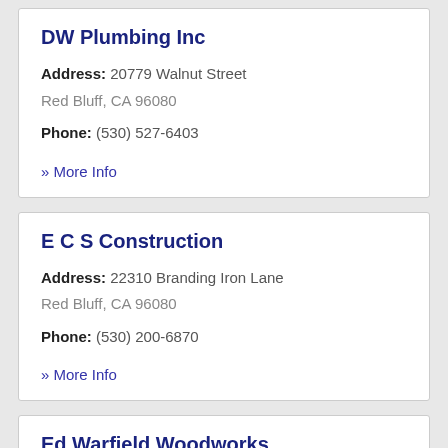DW Plumbing Inc
Address: 20779 Walnut Street
Red Bluff, CA 96080
Phone: (530) 527-6403
» More Info
E C S Construction
Address: 22310 Branding Iron Lane
Red Bluff, CA 96080
Phone: (530) 200-6870
» More Info
Ed Warfield Woodworks